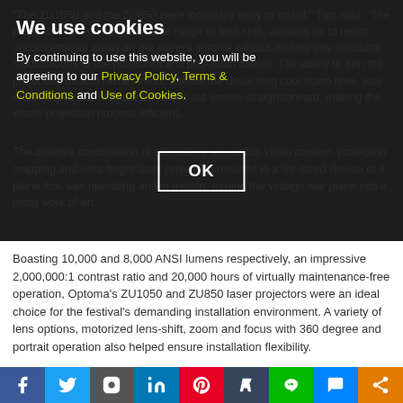“The ZU1050 and the ZU850 were incredibly easy to install,” Tico said. “The projectors have an unbelievable range in lens shift, allowing us to reach unconventional areas on the plane’s surface without making any structural modifications to the projectors and projection towers. The ability to turn the projectors off and restart them, without the usual long cool down time, was extremely useful. It made switching out lenses straightforward, making the whole projection process efficient.
We use cookies
By continuing to use this website, you will be agreeing to our Privacy Policy, Terms & Conditions and Use of Cookies.
OK
The creative combination of stimulating simulation video content, projection mapping and ultra-bright laser projection resulted in a life-sized illusion of a plane that was operating and in motion, turning the vintage war plane into a living work of art.
Boasting 10,000 and 8,000 ANSI lumens respectively, an impressive 2,000,000:1 contrast ratio and 20,000 hours of virtually maintenance-free operation, Optoma’s ZU1050 and ZU850 laser projectors were an ideal choice for the festival’s demanding installation environment. A variety of lens options, motorized lens-shift, zoom and focus with 360 degree and portrait operation also helped ensure installation flexibility.